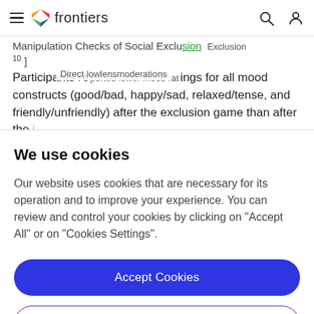frontiers
Manipulation Checks of Social Exclusion 10 ] Exclusion
Participants reported lower mood ratings for all mood constructs (good/bad, happy/sad, relaxed/tense, and friendly/unfriendly) after the exclusion game than after the inclusion game (results following the adapted text...
We use cookies
Our website uses cookies that are necessary for its operation and to improve your experience. You can review and control your cookies by clicking on "Accept All" or on "Cookies Settings".
Accept Cookies
Cookies Settings